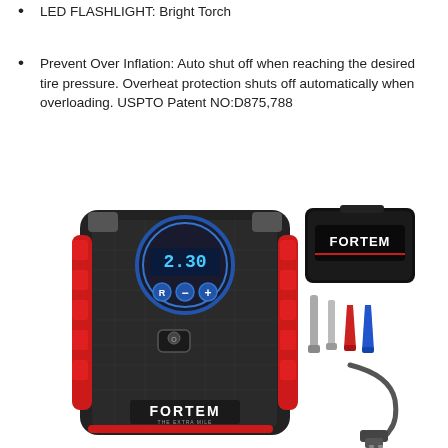LED FLASHLIGHT: Bright Torch
Prevent Over Inflation: Auto shut off when reaching the desired tire pressure. Overheat protection shuts off automatically when overloading. USPTO Patent NO:D875,788
[Figure (photo): Product photo of a FORTEM brand portable tire inflator/air compressor, black and red in color with a digital display showing 2.30, a power switch, and the FORTEM logo. Accessories shown beside it include a carrying case with FORTEM logo, valve adapters (metal and colored red/blue), and a 12V car plug/cable.]